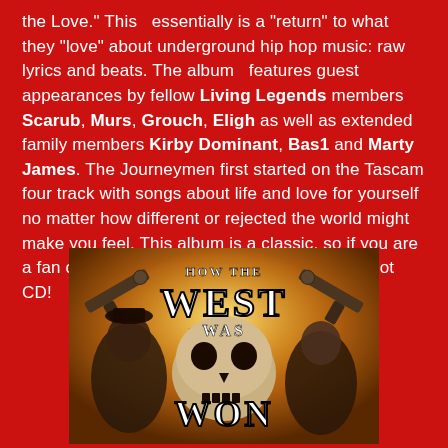the Love." This essentially is a "return" to what they "love" about underground hip hop music: raw lyrics and beats. The album features guest appearances by fellow Living Legends members Scarub, Murs, Grouch, Eligh as well as extended family members Kirby Dominant, Bas1 and Marty James. The Journeymen first started on the Tascam four track with songs about life and love for yourself no matter how different or rejected the world might make you feel. This album is a classic, so if you are a fan of underground hip-hop music, this is a hot CD!
[Figure (illustration): Album cover for 'How The West Was Won' showing two rappers flanking a skull, with revolvers in background on a fiery orange/brown background. Text reads 'HOW THE WEST WAS WON' in large stylized western font.]